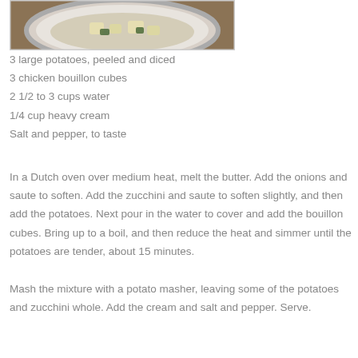[Figure (photo): A decorative plate with diced potatoes and zucchini soup on a burlap-style background.]
3 large potatoes, peeled and diced
3 chicken bouillon cubes
2 1/2 to 3 cups water
1/4 cup heavy cream
Salt and pepper, to taste
In a Dutch oven over medium heat, melt the butter. Add the onions and saute to soften. Add the zucchini and saute to soften slightly, and then add the potatoes. Next pour in the water to cover and add the bouillon cubes. Bring up to a boil, and then reduce the heat and simmer until the potatoes are tender, about 15 minutes.
Mash the mixture with a potato masher, leaving some of the potatoes and zucchini whole. Add the cream and salt and pepper. Serve.